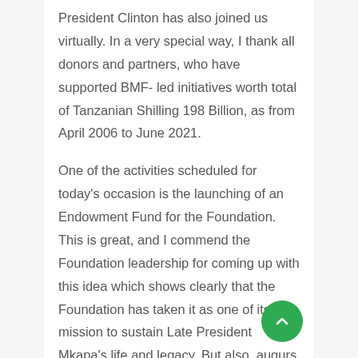President Clinton has also joined us virtually. In a very special way, I thank all donors and partners, who have supported BMF- led initiatives worth total of Tanzanian Shilling 198 Billion, as from April 2006 to June 2021.
One of the activities scheduled for today's occasion is the launching of an Endowment Fund for the Foundation. This is great, and I commend the Foundation leadership for coming up with this idea which shows clearly that the Foundation has taken it as one of its mission to sustain Late President Mkapa's life and legacy. But also, augurs well with President Mkapa's